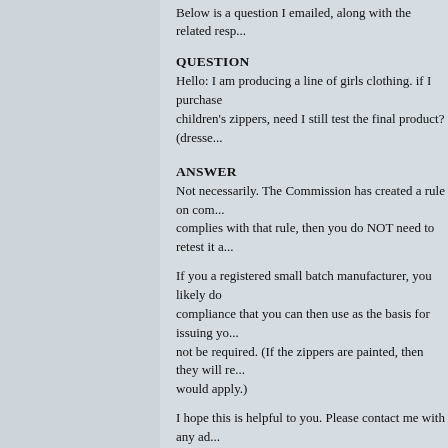Below is a question I emailed, along with the related resp...
QUESTION
Hello: I am producing a line of girls clothing. if I purchase children's zippers, need I still test the final product? (dresse...
ANSWER
Not necessarily. The Commission has created a rule on co... complies with that rule, then you do NOT need to retest it a...
If you a registered small batch manufacturer, you likely do compliance that you can then use as the basis for issuing yo... not be required. (If the zippers are painted, then they will re... would apply.)
I hope this is helpful to you. Please contact me with any ad...
Sincerely,
Neal
Neal S. Cohen
Small Business Ombudsman
U.S. Consumer Product Safety Commission
Tel: 301.504.7504
ncohen@cpsc.gov